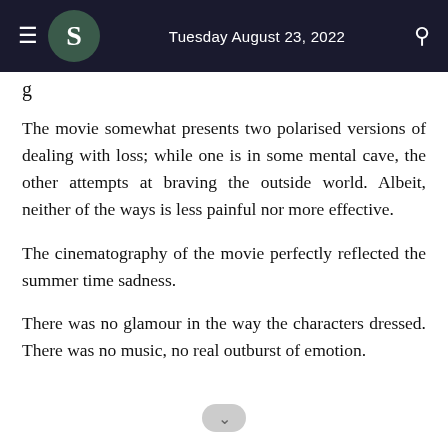Tuesday August 23, 2022
The movie somewhat presents two polarised versions of dealing with loss; while one is in some mental cave, the other attempts at braving the outside world. Albeit, neither of the ways is less painful nor more effective.
The cinematography of the movie perfectly reflected the summer time sadness.
There was no glamour in the way the characters dressed. There was no music, no real outburst of emotion.